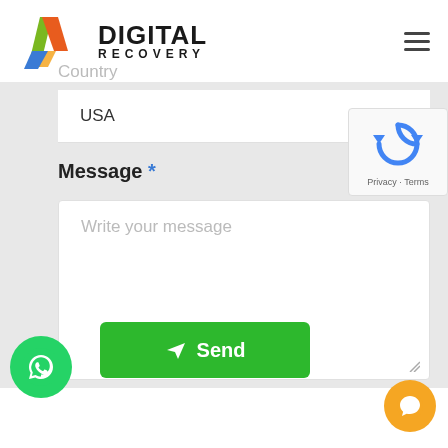[Figure (logo): Digital Recovery logo with colorful diagonal stripe graphic and bold text DIGITAL RECOVERY]
Country
USA
[Figure (other): reCAPTCHA widget showing circular arrows icon and Privacy - Terms text]
Message *
Write your message
[Figure (other): Green Send button with paper plane icon]
[Figure (other): WhatsApp floating button (green circle with phone icon)]
[Figure (other): Orange chat bubble floating button]